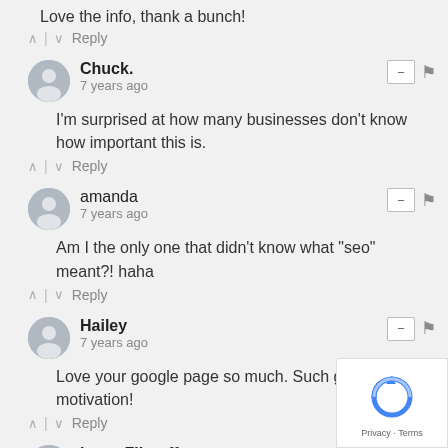Love the info, thank a bunch!
^ | v   Reply
Chuck. · 7 years ago
I'm surprised at how many businesses don't know how important this is.
^ | v   Reply
amanda · 7 years ago
Am I the only one that didn't know what "seo" meant?! haha
^ | v   Reply
Hailey · 7 years ago
Love your google page so much. Such great motivation!
^ | v   Reply
Larry Flintoff · 7 years ago